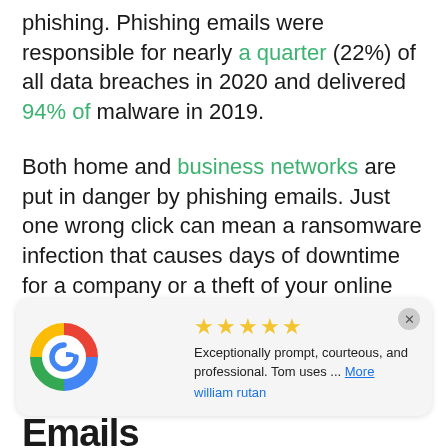phishing. Phishing emails were responsible for nearly a quarter (22%) of all data breaches in 2020 and delivered 94% of malware in 2019.
Both home and business networks are put in danger by phishing emails. Just one wrong click can mean a ransomware infection that causes days of downtime for a company or a theft of your online banking details.
Let’s take a look at what phishing emails are and how you can improve your ability to spot
[Figure (other): Google review card with 5 stars. Text: Exceptionally prompt, courteous, and professional. Tom uses ... More. Reviewer: william rutan.]
Emails